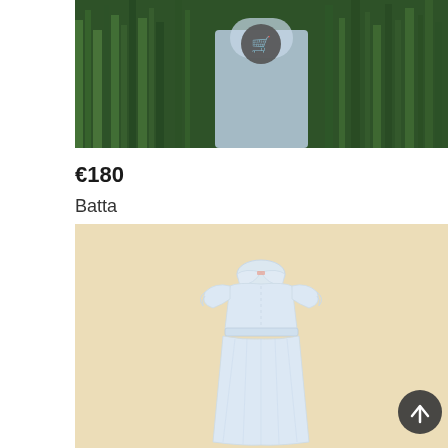[Figure (photo): Person wearing a light blue shirt standing in tall green grass, with a dark circular cart/shopping button overlay in the center.]
€180
Batta
[Figure (photo): White children's smock/dress with short ruffled sleeves and a collar, displayed against a pale yellow/cream background. A circular dark scroll-up arrow button is visible in the lower right.]